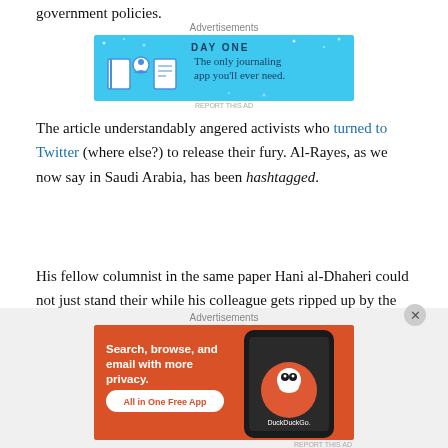government policies.
[Figure (screenshot): Day One journaling app advertisement with blue background. Text: 'DAY ONE - The only journaling app you'll ever need.']
The article understandably angered activists who turned to Twitter (where else?) to release their fury. Al-Rayes, as we now say in Saudi Arabia, has been hashtagged.
His fellow columnist in the same paper Hani al-Dhaheri could not just stand their while his colleague gets ripped up by the kids in social media. Few days later, he penned this column in which he called rights activists khawarii who
[Figure (screenshot): DuckDuckGo advertisement with orange background. Text: 'Search, browse, and email with more privacy. All in One Free App'. Shows a phone with DuckDuckGo logo.]